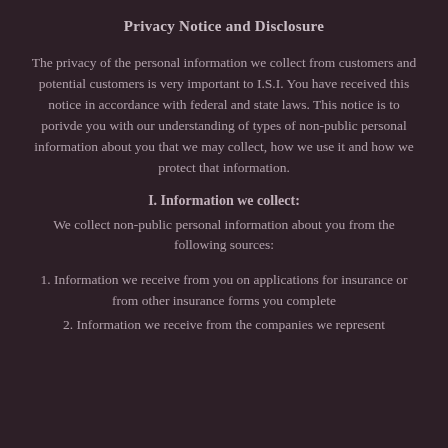Privacy Notice and Disclosure
The privacy of the personal information we collect from customers and potential customers is very important to I.S.I. You have received this notice in accordance with federal and state laws. This notice is to porivde you with our understanding of types of non-public personal information about you that we may collect, how we use it and how we protect that information.
I. Information we collect:
We collect non-public personal information about you from the following sources:
1. Information we receive from you on applications for insurance or from other insurance forms you complete
2. Information we receive from the companies we represent